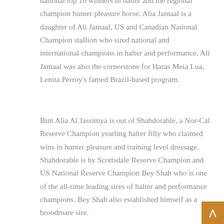national top 10 winners in halter and the regional champion hunter pleasure horse. Alia Jamaal is a daughter of Ali Jamaal, US and Canadian National Champion stallion who sired national and international champions in halter and performance. Ali Jamaal was also the cornerstone for Haras Meia Lua, Lenita Perroy's famed Brazil-based program.
Bint Alia Al Jassimya is out of Shahdorable, a Nor-Cal Reserve Champion yearling halter filly who claimed wins in hunter pleasure and training level dressage. Shahdorable is by Scottsdale Reserve Champion and US National Reserve Champion Bey Shah who is one of the all-time leading sires of halter and performance champions. Bey Shah also established himself as a broodmare sire.